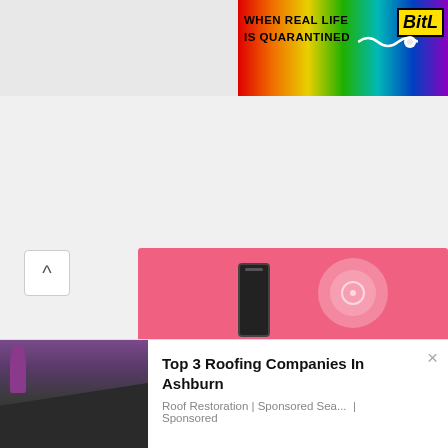[Figure (screenshot): Rainbow-colored advertisement banner in top-right corner with text 'WHEN REAL LIFE IS QUARANTINED' and 'BitL' logo in yellow]
[Figure (screenshot): Pink advertisement banner with device/product images visible at mid-page, with a white upward chevron button on the left]
[Figure (screenshot): Green popup modal with title 'Enjoying the article?', body text 'Subscribe to get stories like this delivered to your inbox every day', an email input field, and a dark subscribe button, with an X close button]
[Figure (screenshot): Bottom notification ad showing a damaged roof image on the left and text 'Top 3 Roofing Companies In Ashburn' with subtext 'Roof Restoration | Sponsored Sea... | Sponsored' and an X close button]